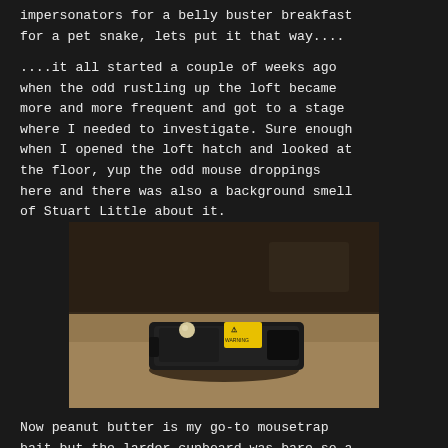impersonators for a belly buster breakfast for a pet snake, lets put it that way....
....it all started a couple of weeks ago when the odd rustling up the loft became more and more frequent and got to a stage where I needed to investigate. Sure enough when I opened the loft hatch and looked at the floor, yup the odd mouse droppings here and there was also a background smell of Stuart Little about it.
[Figure (photo): A black mousetrap with a yellow warning label sits on a light brown/tan surface (cork board or carpet). The trap appears to be a modern plastic enclosed snap trap. The background is dark and out of focus.]
Now peanut butter is my go-to mousetrap bait but the larder cupboard was bare so a